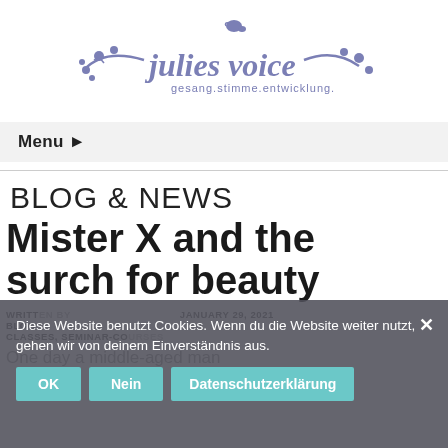[Figure (logo): julies voice logo with bird and branches, text 'julies voice' and tagline 'gesang.stimme.entwicklung.']
Menu ▶
BLOG & NEWS
Mister X and the surch for beauty
WRITTEN BY
JANUARY 29, 2021
BLOG
CLASSES, SEMINAR-CO...
One day a middle-aged man
Diese Website benutzt Cookies. Wenn du die Website weiter nutzt, gehen wir von deinem Einverständnis aus.
OK  Nein  Datenschutzerklärung